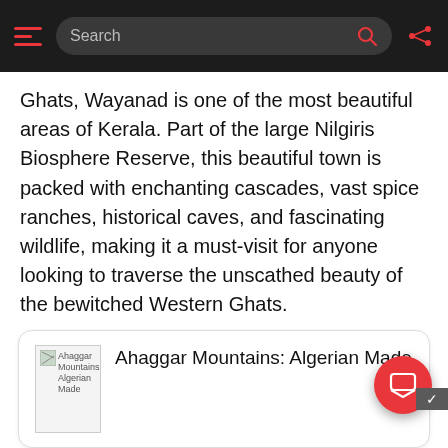Navigation bar with hamburger menu, search bar, and share icon
Ghats, Wayanad is one of the most beautiful areas of Kerala. Part of the large Nilgiris Biosphere Reserve, this beautiful town is packed with enchanting cascades, vast spice ranches, historical caves, and fascinating wildlife, making it a must-visit for anyone looking to traverse the unscathed beauty of the bewitched Western Ghats.
[Figure (other): Linked card with thumbnail image placeholder and title: Ahaggar Mountains: Algerian Made]
Ahaggar Mountains: Algerian Made